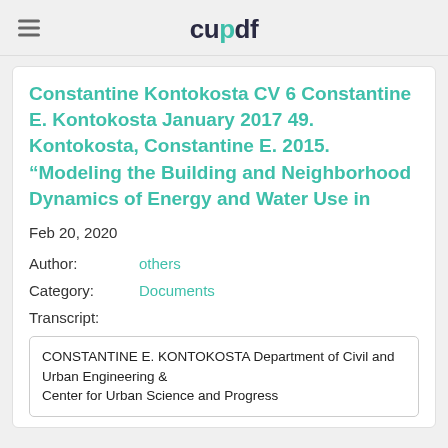cupdf
Constantine Kontokosta CV 6 Constantine E. Kontokosta January 2017 49. Kontokosta, Constantine E. 2015. “Modeling the Building and Neighborhood Dynamics of Energy and Water Use in
Feb 20, 2020
Author:        others
Category:      Documents
Transcript:
CONSTANTINE E. KONTOKOSTA Department of Civil and Urban Engineering &
Center for Urban Science and Progress